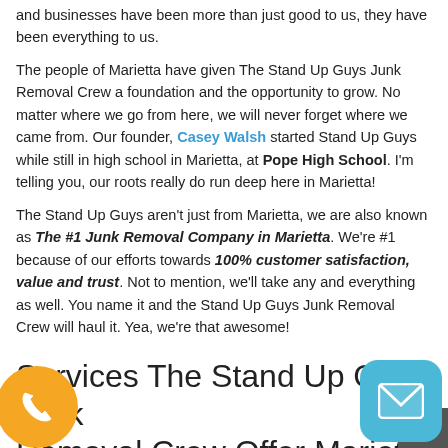and businesses have been more than just good to us, they have been everything to us.
The people of Marietta have given The Stand Up Guys Junk Removal Crew a foundation and the opportunity to grow. No matter where we go from here, we will never forget where we came from. Our founder, Casey Walsh started Stand Up Guys while still in high school in Marietta, at Pope High School. I'm telling you, our roots really do run deep here in Marietta!
The Stand Up Guys aren't just from Marietta, we are also known as The #1 Junk Removal Company in Marietta. We're #1 because of our efforts towards 100% customer satisfaction, value and trust. Not to mention, we'll take any and everything as well. You name it and the Stand Up Guys Junk Removal Crew will haul it. Yea, we're that awesome!
Services The Stand Up Guys Junk Removal Crew Offer Marietta